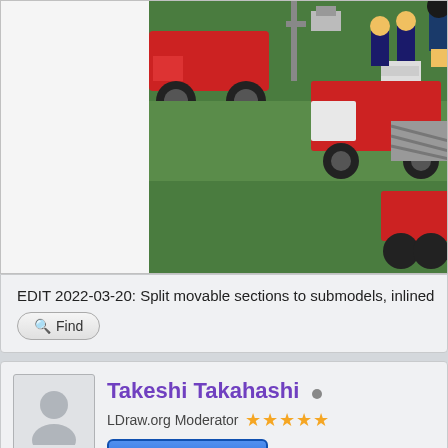[Figure (photo): LEGO fire station scene with red fire trucks, green base plates, firefighter minifigures, and a gray ladder truck]
EDIT 2022-03-20: Split movable sections to submodels, inlined
Find
Takeshi Takahashi
LDraw.org Moderator ★★★★★
Part author